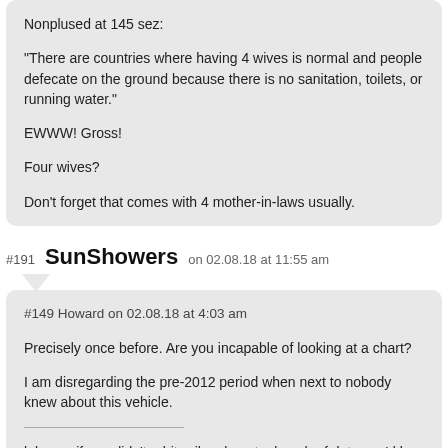Nonplused at 145 sez:

“There are countries where having 4 wives is normal and people defecate on the ground because there is no sanitation, toilets, or running water.”

EWWW! Gross!

Four wives?

Don’t forget that comes with 4 mother-in-laws usually.
#191 SunShowers on 02.08.18 at 11:55 am
#149 Howard on 02.08.18 at 4:03 am

Precisely once before. Are you incapable of looking at a chart?

I am disregarding the pre-2012 period when next to nobody knew about this vehicle.

————————————

lol even if you didn’t arbitrarily rule out a bunch of data you’d be wrong.